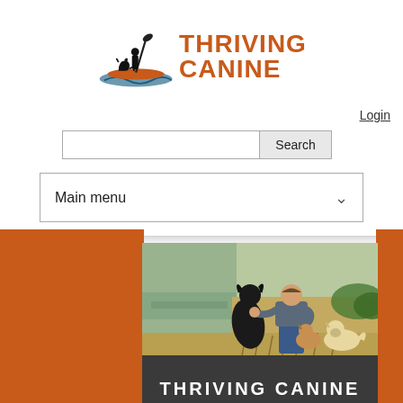[Figure (logo): Thriving Canine logo with silhouette of person on paddleboard with dog and orange/teal water design, with text THRIVING CANINE in orange bold letters]
Login
[Figure (screenshot): Search input box and Search button]
[Figure (screenshot): Main menu dropdown selector]
[Figure (photo): Man kneeling in a dry grassy field with three dogs: a large black dog standing, a small tan dog, and a white/tan dog. Background shows water and dry grass.]
THRIVING CANINE